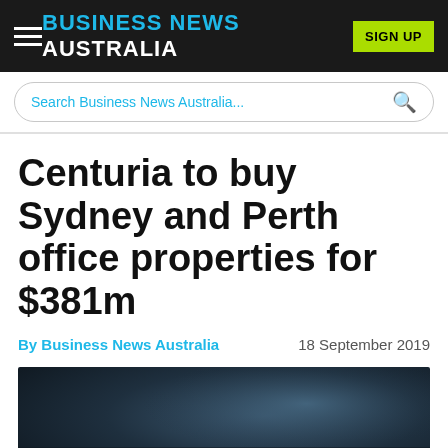BUSINESS NEWS AUSTRALIA
Search Business News Australia...
Centuria to buy Sydney and Perth office properties for $381m
By Business News Australia   18 September 2019
[Figure (photo): Dark blue-toned photograph, likely an aerial or architectural image, used as article header image]